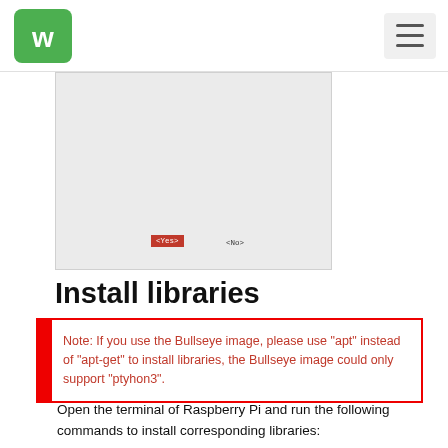Waveshare logo and navigation
[Figure (screenshot): Screenshot of a Raspberry Pi terminal dialog with Yes and No options]
Install libraries
Note: If you use the Bullseye image, please use "apt" instead of "apt-get" to install libraries, the Bullseye image could only support "ptyhon3".
Open the terminal of Raspberry Pi and run the following commands to install corresponding libraries: